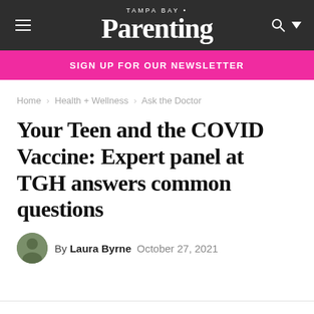Tampa Bay Parenting
SIGN UP FOR OUR NEWSLETTER
Home › Health + Wellness › Ask the Doctor
Your Teen and the COVID Vaccine: Expert panel at TGH answers common questions
By Laura Byrne   October 27, 2021